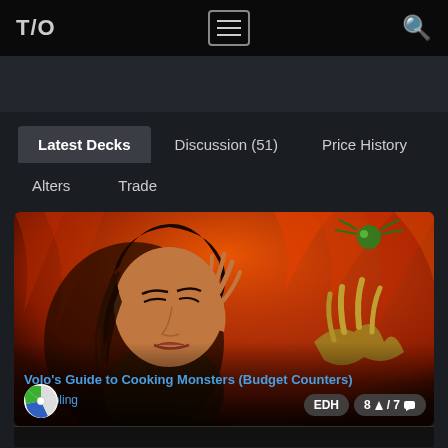T/O  ≡  🔍
Latest Decks  Discussion (51)  Price History  Alters  Trade
[Figure (screenshot): Card image showing a fantasy painting of a woman with braided hair in front of fire, with a green creature visible in background]
Volo's Guide to Cooking Monsters (Budget Counters)
by Jopling
EDH  8 ↑ / 7 💬